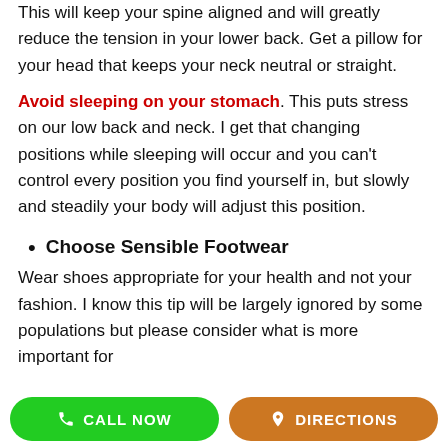This will keep your spine aligned and will greatly reduce the tension in your lower back. Get a pillow for your head that keeps your neck neutral or straight.
Avoid sleeping on your stomach. This puts stress on our low back and neck. I get that changing positions while sleeping will occur and you can't control every position you find yourself in, but slowly and steadily your body will adjust this position.
Choose Sensible Footwear
Wear shoes appropriate for your health and not your fashion. I know this tip will be largely ignored by some populations but please consider what is more important for